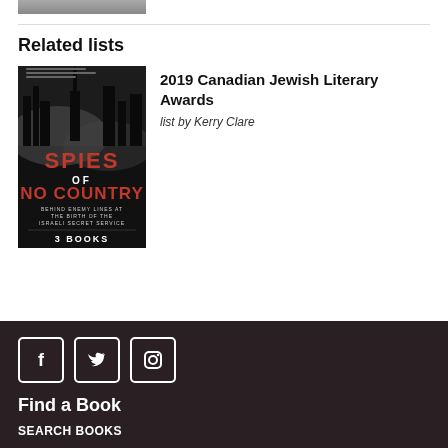[Figure (photo): Partial book cover image at top of page, cropped]
Related lists
[Figure (illustration): Book cover for 'Spies of No Country: Behind Enemy Lines at the Birth of the Israeli Secret Service', dark black and white cover with red text, showing 3 BOOKS label]
2019 Canadian Jewish Literary Awards
list by Kerry Clare
[Figure (other): Social media icons: Facebook, Twitter, Instagram]
Find a Book
SEARCH BOOKS